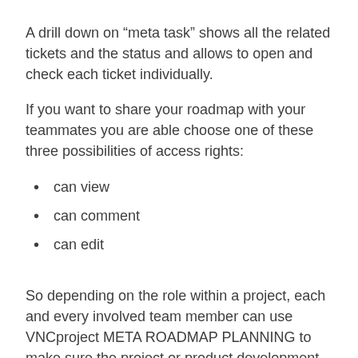A drill down on “meta task” shows all the related tickets and the status and allows to open and check each ticket individually.
If you want to share your roadmap with your teammates you are able choose one of these three possibilities of access rights:
can view
can comment
can edit
So depending on the role within a project, each and every involved team member can use VNCproject META ROADMAP PLANNING to make sure the project or product development is successful. Thus helping everyone to not only see a single task but the whole